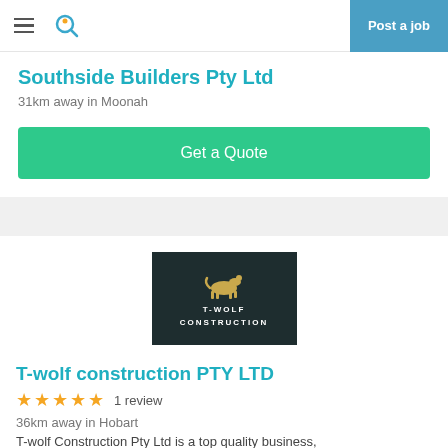Post a job
Southside Builders Pty Ltd
31km away in Moonah
Get a Quote
[Figure (logo): T-Wolf Construction logo — dark background with gold wolf silhouette and text T-WOLF CONSTRUCTION]
T-wolf construction PTY LTD
1 review
36km away in Hobart
T-wolf Construction Pty Ltd is a top quality business,